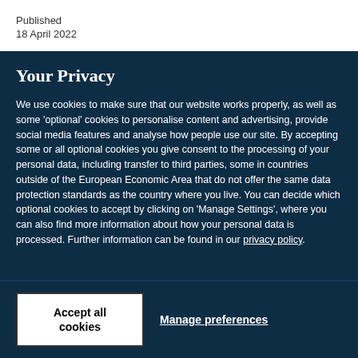Published
18 April 2022
Your Privacy
We use cookies to make sure that our website works properly, as well as some 'optional' cookies to personalise content and advertising, provide social media features and analyse how people use our site. By accepting some or all optional cookies you give consent to the processing of your personal data, including transfer to third parties, some in countries outside of the European Economic Area that do not offer the same data protection standards as the country where you live. You can decide which optional cookies to accept by clicking on 'Manage Settings', where you can also find more information about how your personal data is processed. Further information can be found in our privacy policy.
Accept all cookies
Manage preferences